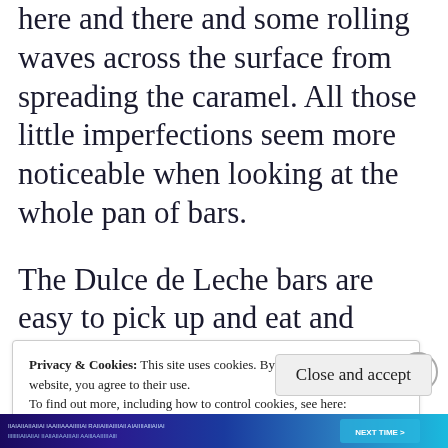here and there and some rolling waves across the surface from spreading the caramel. All those little imperfections seem more noticeable when looking at the whole pan of bars.
The Dulce de Leche bars are easy to pick up and eat and caramel on
Privacy & Cookies: This site uses cookies. By continuing to use this website, you agree to their use.
To find out more, including how to control cookies, see here:
Cookie Policy
Close and accept